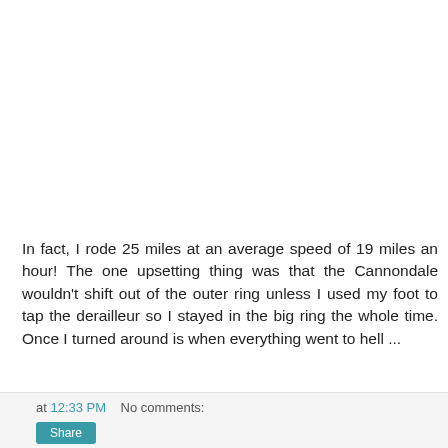In fact, I rode 25 miles at an average speed of 19 miles an hour! The one upsetting thing was that the Cannondale wouldn't shift out of the outer ring unless I used my foot to tap the derailleur so I stayed in the big ring the whole time. Once I turned around is when everything went to hell ...
at 12:33 PM   No comments: